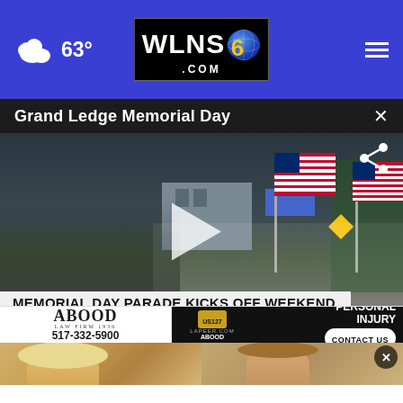63° WLNS6.COM
Grand Ledge Memorial Day
[Figure (photo): Memorial Day parade in Grand Ledge. People lined up along a street watching a parade with American flags. Lower third graphic reads: MEMORIAL DAY PARADE KICKS OFF WEEKEND / GRAND LEDGE]
[Figure (photo): Two-column content preview showing news thumbnails below the video]
[Figure (other): Advertisement banner: ABOOD LAW FIRM 1936, 517-332-5900, Personal Injury, CONTACT US, US127 LAPEER.COM ABOOD]